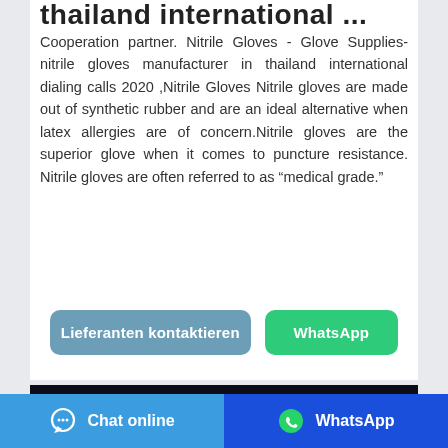thailand international ...
Cooperation partner. Nitrile Gloves - Glove Supplies- nitrile gloves manufacturer in thailand international dialing calls 2020 ,Nitrile Gloves Nitrile gloves are made out of synthetic rubber and are an ideal alternative when latex allergies are of concern.Nitrile gloves are the superior glove when it comes to puncture resistance. Nitrile gloves are often referred to as “medical grade.”
[Figure (other): Button: Lieferanten kontaktieren (blue-grey rounded button)]
[Figure (other): Button: WhatsApp (green rounded button)]
[Figure (photo): Photo of blue nitrile gloves on a dark background, showing two hands wearing blue nitrile examination gloves]
Chat online   WhatsApp